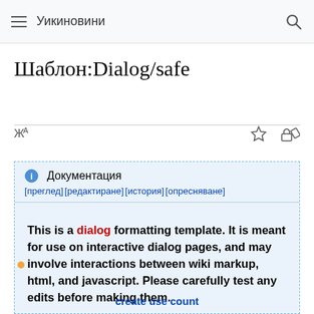Уикиновини
Шаблон:Dialog/safe
This is a dialog formatting template. It is meant for use on interactive dialog pages, and may involve interactions between wiki markup, html, and javascript. Please carefully test any edits before making them.
create use count